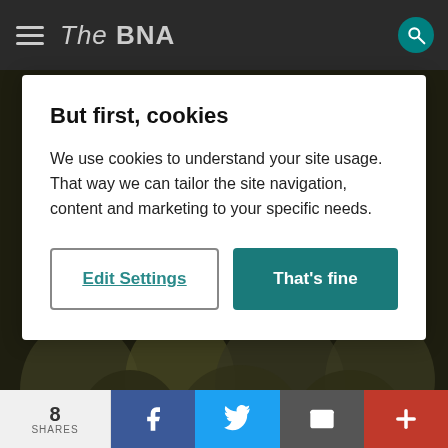The BNA
But first, cookies
We use cookies to understand your site usage. That way we can tailor the site navigation, content and marketing to your specific needs.
Edit Settings | That's fine
[Figure (photo): Dark historical photograph of a group of people]
8 SHARES